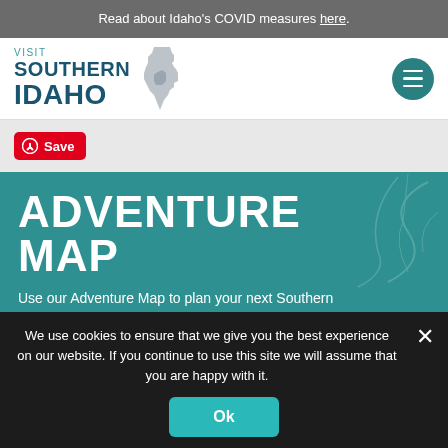Read about Idaho's COVID measures here.
[Figure (logo): Visit Southern Idaho logo with Idaho state map silhouette icon]
[Figure (other): Hamburger menu button (three horizontal lines) in teal circle]
[Figure (other): Pinterest Save button in red]
ADVENTURE MAP
Use our Adventure Map to plan your next Southern
We use cookies to ensure that we give you the best experience on our website. If you continue to use this site we will assume that you are happy with it.
Ok